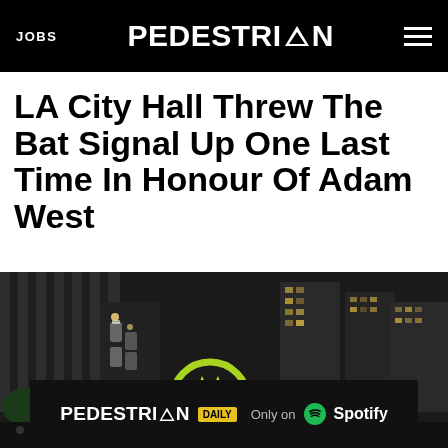JOBS | PEDESTRIAN | menu
LA City Hall Threw The Bat Signal Up One Last Time In Honour Of Adam West
[Figure (photo): Night aerial photo of LA city with the Batman bat signal visible on a rooftop, city buildings lit up at night, traffic on streets below]
[Figure (other): PEDESTRIAN DAILY Only on Spotify advertisement banner]